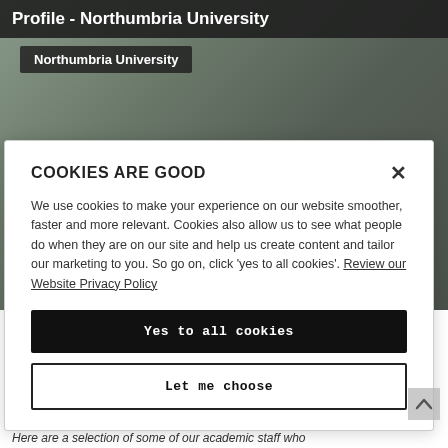Profile - Northumbria University
Northumbria University
[Figure (photo): A man wearing glasses speaking in a laboratory setting with a microscope visible in the background]
COOKIES ARE GOOD
We use cookies to make your experience on our website smoother, faster and more relevant. Cookies also allow us to see what people do when they are on our site and help us create content and tailor our marketing to you. So go on, click 'yes to all cookies'. Review our Website Privacy Policy
Yes to all cookies
Let me choose
Here are a selection of some of our academic staff who